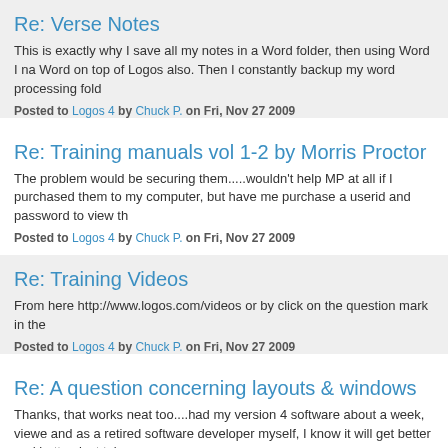Re: Verse Notes
This is exactly why I save all my notes in a Word folder, then using Word I na Word on top of Logos also. Then I constantly backup my word processing fold
Posted to Logos 4 by Chuck P. on Fri, Nov 27 2009
Re: Training manuals vol 1-2 by Morris Proctor
The problem would be securing them.....wouldn't help MP at all if I purchased them to my computer, but have me purchase a userid and password to view th
Posted to Logos 4 by Chuck P. on Fri, Nov 27 2009
Re: Training Videos
From here http://www.logos.com/videos or by click on the question mark in the
Posted to Logos 4 by Chuck P. on Fri, Nov 27 2009
Re: A question concerning layouts & windows
Thanks, that works neat too....had my version 4 software about a week, viewe and as a retired software developer myself, I know it will get better and better. just take
Posted to Logos 4 by Chuck P. on Fri, Nov 27 2009
Re: A question concerning layouts & windows